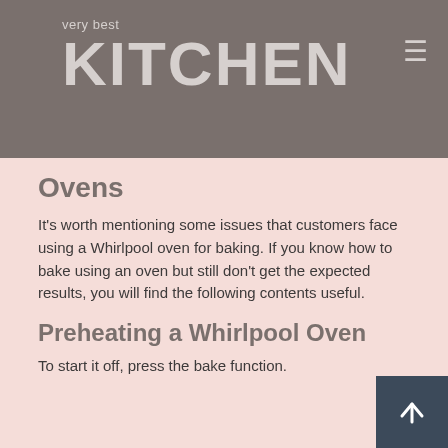very best KITCHEN
Ovens
It's worth mentioning some issues that customers face using a Whirlpool oven for baking. If you know how to bake using an oven but still don't get the expected results, you will find the following contents useful.
Preheating a Whirlpool Oven
To start it off, press the bake function.